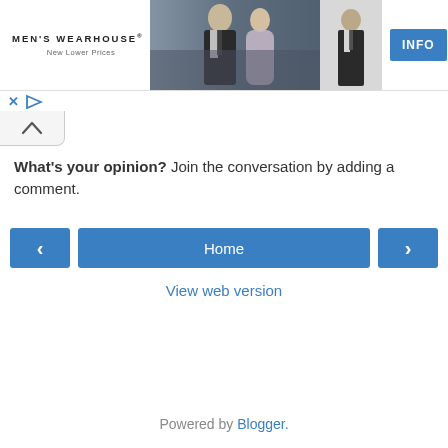[Figure (other): Men's Wearhouse advertisement banner showing logo, couple in formal wear, man in suit, and INFO button]
[Figure (other): Ad close/play controls: X and play triangle icons in blue]
[Figure (other): Collapse/chevron-up tab button]
What's your opinion? Join the conversation by adding a comment.
[Figure (other): Navigation bar with left arrow button, Home button, and right arrow button]
View web version
Powered by Blogger.